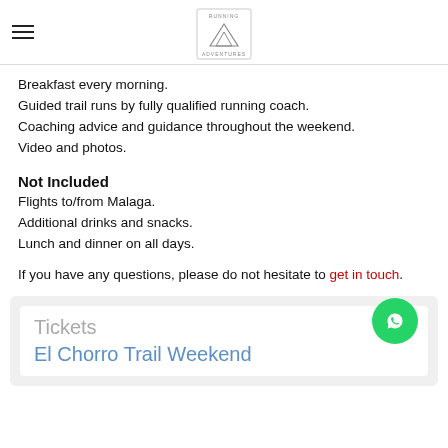RUNNING ADVENTURES logo
Breakfast every morning.
Guided trail runs by fully qualified running coach.
Coaching advice and guidance throughout the weekend.
Video and photos.
Not Included
Flights to/from Malaga.
Additional drinks and snacks.
Lunch and dinner on all days.
If you have any questions, please do not hesitate to get in touch.
Tickets
El Chorro Trail Weekend